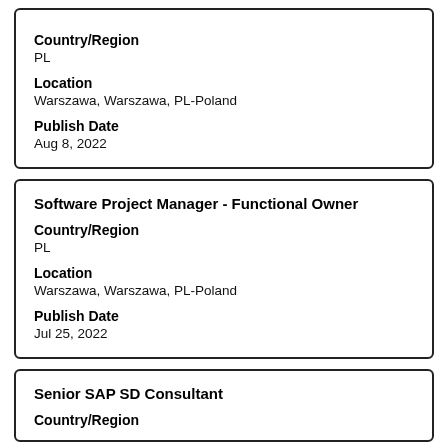Country/Region
PL
Location
Warszawa, Warszawa, PL-Poland
Publish Date
Aug 8, 2022
Software Project Manager - Functional Owner
Country/Region
PL
Location
Warszawa, Warszawa, PL-Poland
Publish Date
Jul 25, 2022
Senior SAP SD Consultant
Country/Region